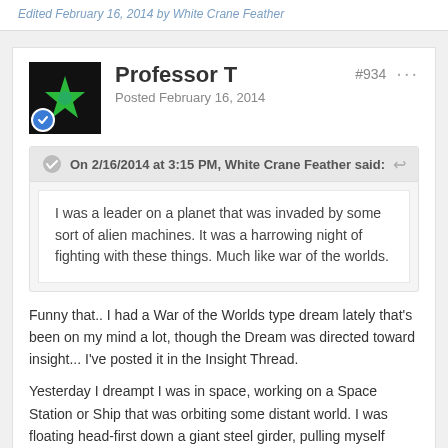Edited February 16, 2014 by White Crane Feather
Professor T
Posted February 16, 2014
#934
On 2/16/2014 at 3:15 PM, White Crane Feather said:
I was a leader on a planet that was invaded by some sort of alien machines. It was a harrowing night of fighting with these things. Much like war of the worlds.
Funny that.. I had a War of the Worlds type dream lately that's been on my mind a lot, though the Dream was directed toward insight... I've posted it in the Insight Thread.
Yesterday I dreampt I was in space, working on a Space Station or Ship that was orbiting some distant world. I was floating head-first down a giant steel girder, pulling myself down though this partially completed super-structure. Below me was a crescent planet, blue, green, red.. My